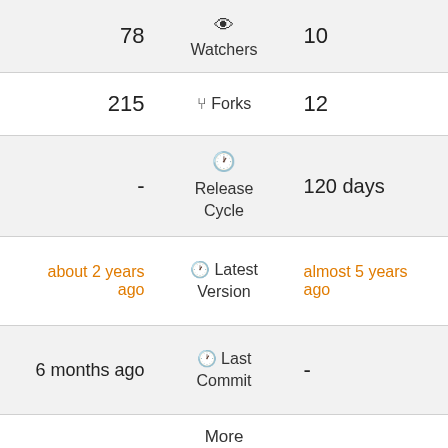| Left | Center | Right |
| --- | --- | --- |
| 78 | 👁 Watchers | 10 |
| 215 | ⑂ Forks | 12 |
| - | ⏱ Release Cycle | 120 days |
| about 2 years ago | ⏱ Latest Version | almost 5 years ago |
| 6 months ago | ⏱ Last Commit | - |
|  | More |  |
| - | Code Quality | L2 |